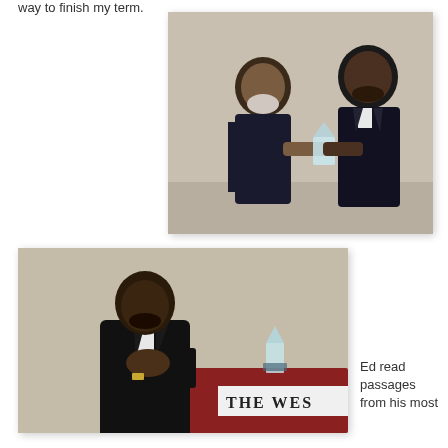way to finish my term.
[Figure (photo): Two men exchanging an award or trophy, both smiling, at a formal event. One older man in a suit presents a crystal award to a younger man in a dark suit.]
[Figure (photo): A man in a dark suit standing at a podium labeled 'The Wes', clapping or holding his hands together, with a crystal award trophy visible on the podium.]
Ed read passages from his most